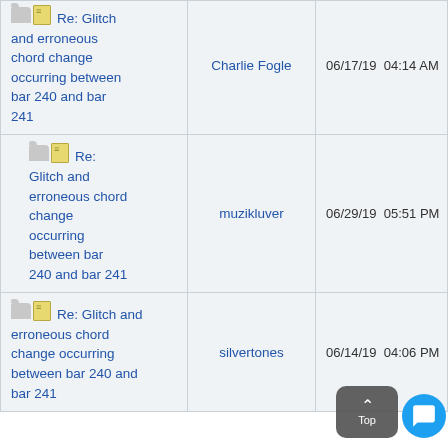| Topic | Author | Date |
| --- | --- | --- |
| Re: Glitch and erroneous chord change occurring between bar 240 and bar 241 | Charlie Fogle | 06/17/19  04:14 AM |
| Re: Glitch and erroneous chord change occurring between bar 240 and bar 241 | muzikluver | 06/29/19  05:51 PM |
| Re: Glitch and erroneous chord change occurring between bar 240 and bar 241 | silvertones | 06/14/19  04:06 PM |